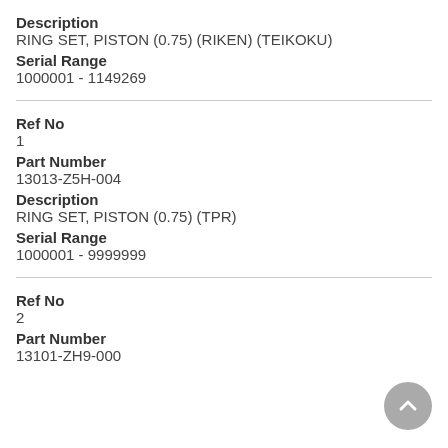Description
RING SET, PISTON (0.75) (RIKEN) (TEIKOKU)
Serial Range
1000001 - 1149269
Ref No
1
Part Number
13013-Z5H-004
Description
RING SET, PISTON (0.75) (TPR)
Serial Range
1000001 - 9999999
Ref No
2
Part Number
13101-ZH9-000